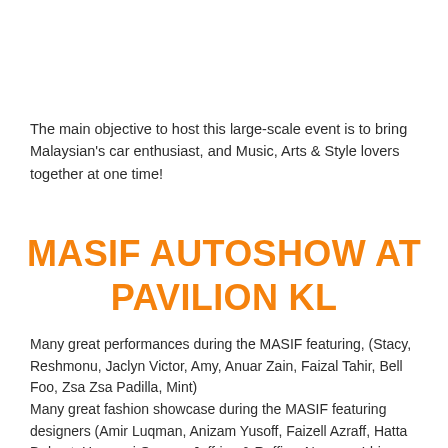The main objective to host this large-scale event is to bring Malaysian's car enthusiast, and Music, Arts & Style lovers together at one time!
MASIF AUTOSHOW AT PAVILION KL
Many great performances during the MASIF featuring, (Stacy, Reshmonu, Jaclyn Victor, Amy, Anuar Zain, Faizal Tahir, Bell Foo, Zsa Zsa Padilla, Mint)
Many great fashion showcase during the MASIF featuring designers (Amir Luqman, Anizam Yusoff, Faizell Azraff, Hatta Dolmat, Hazwani Osman, Jeffriey & Raffiey, Nazreen Idris,